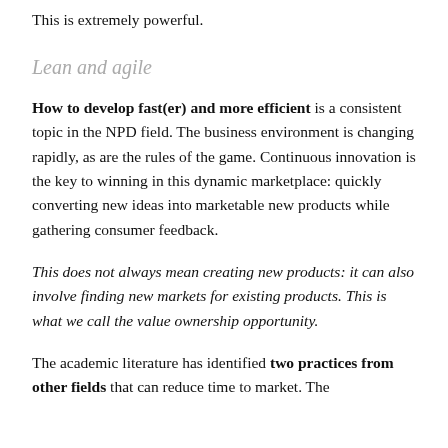This is extremely powerful.
Lean and agile
How to develop fast(er) and more efficient is a consistent topic in the NPD field. The business environment is changing rapidly, as are the rules of the game. Continuous innovation is the key to winning in this dynamic marketplace: quickly converting new ideas into marketable new products while gathering consumer feedback.
This does not always mean creating new products: it can also involve finding new markets for existing products. This is what we call the value ownership opportunity.
The academic literature has identified two practices from other fields that can reduce time to market. The